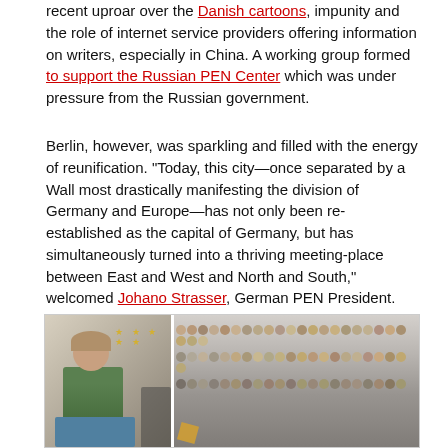recent uproar over the Danish cartoons, impunity and the role of internet service providers offering information on writers, especially in China. A working group formed to support the Russian PEN Center which was under pressure from the Russian government.
Berlin, however, was sparkling and filled with the energy of reunification. "Today, this city—once separated by a Wall most drastically manifesting the division of Germany and Europe—has not only been re-established as the capital of Germany, but has simultaneously turned into a thriving meeting-place between East and West and North and South," welcomed Johano Strasser, German PEN President. "Here in Berlin, history in all its facets—from the great achievements of German artists, philosophers and scientists to the crimes of the Nazis—has left its mark on the urban landscape."
[Figure (photo): Two photos side by side: on the left, a woman in a green jacket at a podium with EU stars visible in the background; on the right, a large crowd of conference attendees in a hall.]